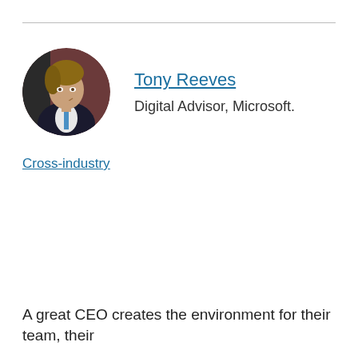[Figure (photo): Circular profile photo of Tony Reeves, a man in a dark suit smiling, against a dark red background]
Tony Reeves
Digital Advisor, Microsoft.
Cross-industry
A great CEO creates the environment for their team, their